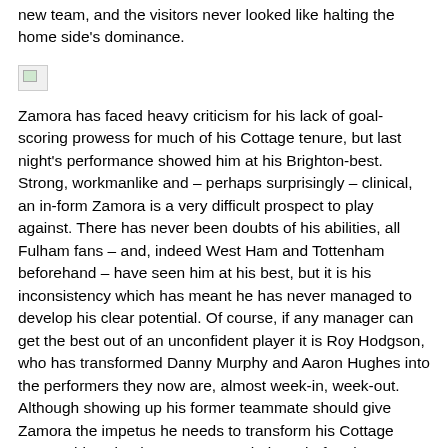new team, and the visitors never looked like halting the home side's dominance.
[Figure (photo): Broken/missing image placeholder (small icon)]
Zamora has faced heavy criticism for his lack of goal-scoring prowess for much of his Cottage tenure, but last night's performance showed him at his Brighton-best. Strong, workmanlike and – perhaps surprisingly – clinical, an in-form Zamora is a very difficult prospect to play against. There has never been doubts of his abilities, all Fulham fans – and, indeed West Ham and Tottenham beforehand – have seen him at his best, but it is his inconsistency which has meant he has never managed to develop his clear potential. Of course, if any manager can get the best out of an unconfident player it is Roy Hodgson, who has transformed Danny Murphy and Aaron Hughes into the performers they now are, almost week-in, week-out. Although showing up his former teammate should give Zamora the impetus he needs to transform his Cottage career, this writer has seen enough times before it